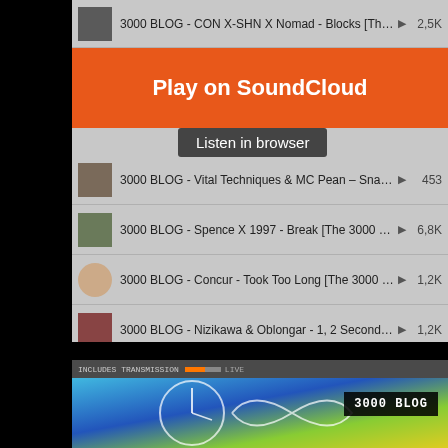[Figure (screenshot): SoundCloud embedded widget showing a playlist of 3000 BLOG tracks with orange 'Play on SoundCloud' banner and 'Listen in browser' button overlay]
3000 BLOG - CON X-SHN X Nomad - Blocks [The 30...   ▶ 2,5K
Play on SoundCloud
Listen in browser
3000 BLOG - Vital Techniques & MC Pean - Snakes a...   ▶ 453
3000 BLOG - Spence X 1997 - Break [The 3000 Net...   ▶ 6,8K
3000 BLOG - Concur - Took Too Long [The 3000 Ne...   ▶ 1,2K
3000 BLOG - Nizikawa & Oblongar - 1, 2 Seconds [T...   ▶ 1,2K
3000 BLOG - Birdy - Law & Order [The 3000 Network ...   ▶ 7K
3000 BLOG - D.J. Dascil & The Golden B... - Sn... - Ti... - T...
Latest tracks by 3000 BLOG
Privacy policy
[Figure (screenshot): Video thumbnail or broadcast screen showing 3000 BLOG label overlay on colorful background with clock/infinity symbol graphic]